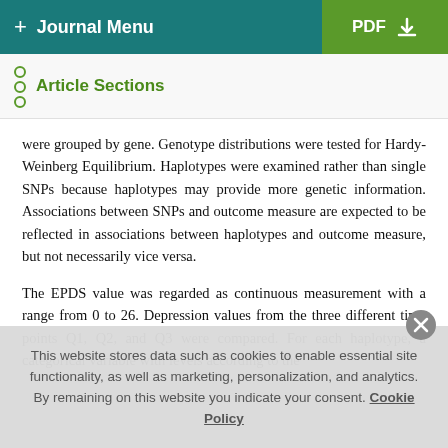+ Journal Menu | PDF ↓
Article Sections
were grouped by gene. Genotype distributions were tested for Hardy-Weinberg Equilibrium. Haplotypes were examined rather than single SNPs because haplotypes may provide more genetic information. Associations between SNPs and outcome measure are expected to be reflected in associations between haplotypes and outcome measure, but not necessarily vice versa.
The EPDS value was regarded as continuous measurement with a range from 0 to 26. Depression values from the three different time points Q1, Q2, and Q3 were compared. For each haplotype, a categorical variable with levels according to the
This website stores data such as cookies to enable essential site functionality, as well as marketing, personalization, and analytics. By remaining on this website you indicate your consent. Cookie Policy